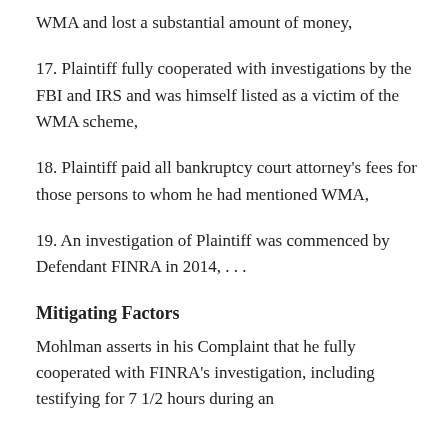WMA and lost a substantial amount of money,
17. Plaintiff fully cooperated with investigations by the FBI and IRS and was himself listed as a victim of the WMA scheme,
18. Plaintiff paid all bankruptcy court attorney's fees for those persons to whom he had mentioned WMA,
19. An investigation of Plaintiff was commenced by Defendant FINRA in 2014, . . .
Mitigating Factors
Mohlman asserts in his Complaint that he fully cooperated with FINRA's investigation, including testifying for 7 1/2 hours during an